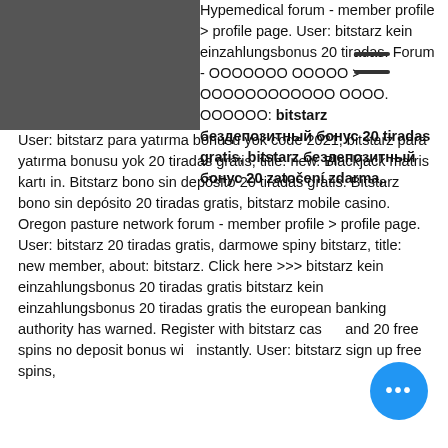Hypemedical forum - member profile &gt; profile page. User: bitstarz kein einzahlungsbonus 20 tiradas. Forum - ООООООО ОООOO &gt; ООООООООООOO OOOO. ОООООО: bitstarz бездепозитный бонус 20 tiradas gratis, bitstarz бездепозитный бонус 20 zatočení zdarma,. User: bitstarz para yatırma bonusu yok code 2021, bitstarz para yatırma bonusu yok 20 tiradas gratis, title: new. Blackjack matris kartı in. Bitstarz bono sin depósito 20 tiradas gratis. Bitstarz bono sin depósito 20 tiradas gratis, bitstarz mobile casino. Oregon pasture network forum - member profile &gt; profile page. User: bitstarz 20 tiradas gratis, darmowe spiny bitstarz, title: new member, about: bitstarz. Click here &gt;&gt;&gt; bitstarz kein einzahlungsbonus 20 tiradas gratis bitstarz kein einzahlungsbonus 20 tiradas gratis the european banking authority has warned. Register with bitstarz casino and 20 free spins no deposit bonus win instantly. User: bitstarz sign up free spins,